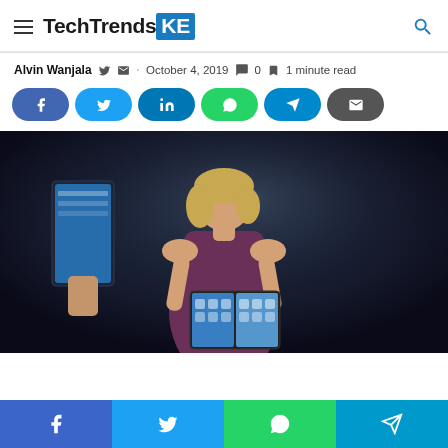TechTrendsKE
Alvin Wanjala · October 4, 2019 · 0 comments · 1 minute read
[Figure (screenshot): Social share buttons: Facebook, Twitter, LinkedIn, WhatsApp, Telegram, Email]
[Figure (photo): Woman in purple dress holding a dual-screen Microsoft Surface Neo device on stage, with another person holding a tablet in the background]
Bottom social share bar: Facebook, Twitter, WhatsApp, Telegram